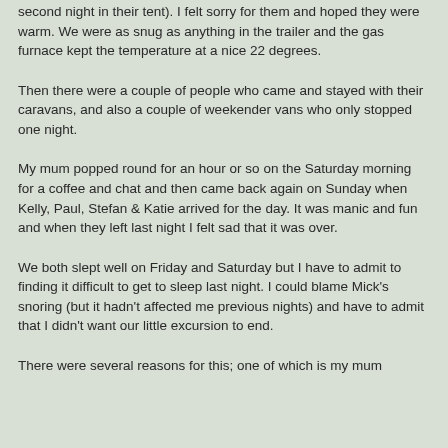second night in their tent).  I felt sorry for them and hoped they were warm.  We were as snug as anything in the trailer and the gas furnace kept the temperature at a nice 22 degrees.
Then there were a couple of people who came and stayed with their caravans, and also a couple of weekender vans who only stopped one night.
My mum popped round for an hour or so on the Saturday morning for a coffee and chat and then came back again on Sunday when Kelly, Paul, Stefan & Katie arrived for the day. It was manic and fun and when they left last night I felt sad that it was over.
We both slept well on Friday and Saturday but I have to admit to finding it difficult to get to sleep last night.  I could blame Mick's snoring (but it hadn't affected me previous nights) and have to admit that I didn't want our little excursion to end.
There were several reasons for this; one of which is my mum